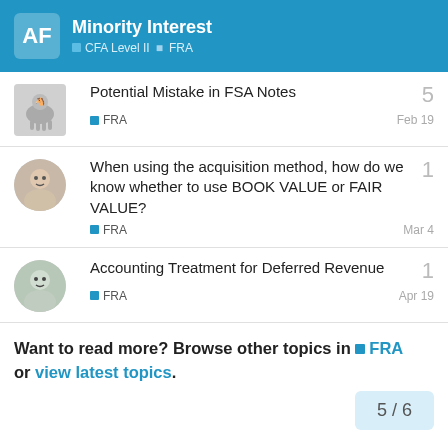AF | Minority Interest | CFA Level II | FRA
Potential Mistake in FSA Notes — FRA — Feb 19 — 5 replies
When using the acquisition method, how do we know whether to use BOOK VALUE or FAIR VALUE? — FRA — Mar 4 — 1 reply
Accounting Treatment for Deferred Revenue — FRA — Apr 19 — 1 reply
Want to read more? Browse other topics in FRA or view latest topics.
5 / 6